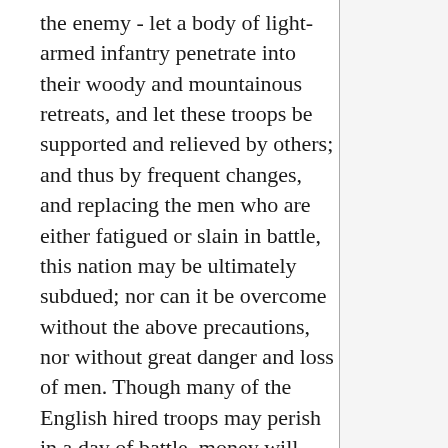the enemy - let a body of light-armed infantry penetrate into their woody and mountainous retreats, and let these troops be supported and relieved by others; and thus by frequent changes, and replacing the men who are either fatigued or slain in battle, this nation may be ultimately subdued; nor can it be overcome without the above precautions, nor without great danger and loss of men. Though many of the English hired troops may perish in a day of battle, money will procure as many or more on the morrow for the same service; but to the Welsh, who have neither foreign nor